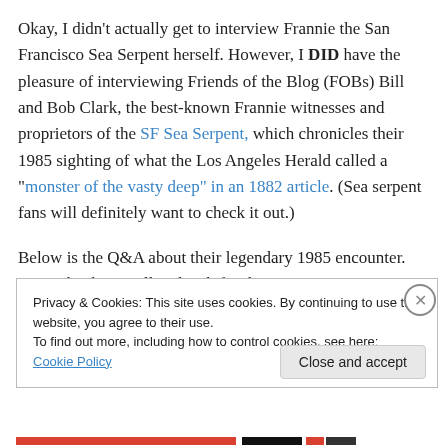Okay, I didn't actually get to interview Frannie the San Francisco Sea Serpent herself. However, I DID have the pleasure of interviewing Friends of the Blog (FOBs) Bill and Bob Clark, the best-known Frannie witnesses and proprietors of the SF Sea Serpent, which chronicles their 1985 sighting of what the Los Angeles Herald called a "monster of the vasty deep" in an 1882 article. (Sea serpent fans will definitely want to check it out.)
Below is the Q&A about their legendary 1985 encounter. Many thanks to Bill and Bob for their participation!
Privacy & Cookies: This site uses cookies. By continuing to use this website, you agree to their use. To find out more, including how to control cookies, see here: Cookie Policy